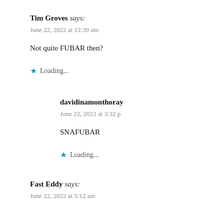Tim Groves says:
June 22, 2022 at 12:39 am
Not quite FUBAR then?
Loading...
davidinamonthoray
June 22, 2022 at 3:32 p
SNAFUBAR
Loading...
Fast Eddy says:
June 22, 2022 at 5:12 am